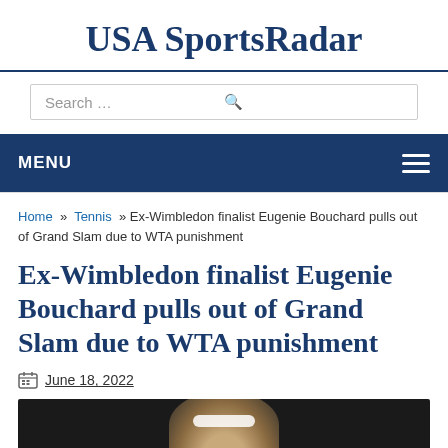USA SportsRadar
Search …
MENU
Home » Tennis » Ex-Wimbledon finalist Eugenie Bouchard pulls out of Grand Slam due to WTA punishment
Ex-Wimbledon finalist Eugenie Bouchard pulls out of Grand Slam due to WTA punishment
June 18, 2022
[Figure (photo): Partial photo of Eugenie Bouchard, tennis player, dark background]